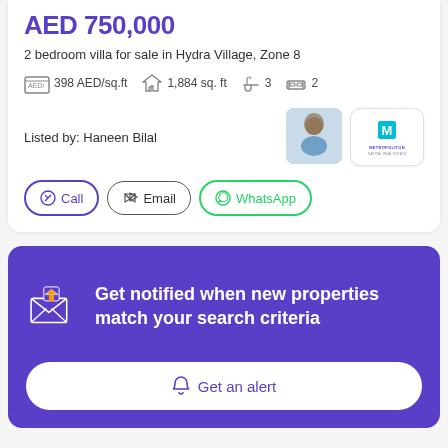AED 750,000
2 bedroom villa for sale in Hydra Village, Zone 8
398 AED/sq.ft   1,884 sq. ft   3   2
Listed by: Haneen Bilal
[Figure (screenshot): Agent avatar photo and Metropolitan Real Estate agency logo]
Call  Email  WhatsApp
[Figure (infographic): Purple notification banner: Get notified when new properties match your search criteria, with envelope+house icon and Get an alert button]